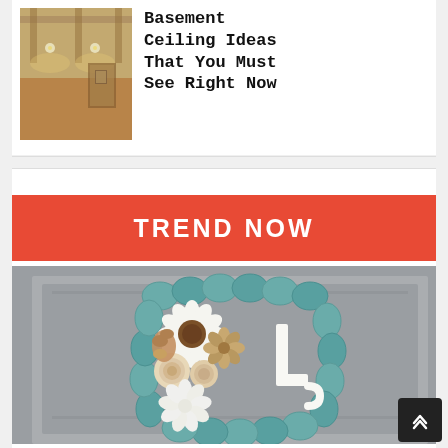[Figure (photo): Photo of a finished basement ceiling with recessed lighting and coffered/beam ceiling detail, warm yellow tones]
Basement Ceiling Ideas That You Must See Right Now
TREND NOW
[Figure (photo): A teal burlap square wreath decorated with cream/white flowers (sunflower, roses, dahlia), tan pinecones, and a white letter L monogram, hanging on a gray door]